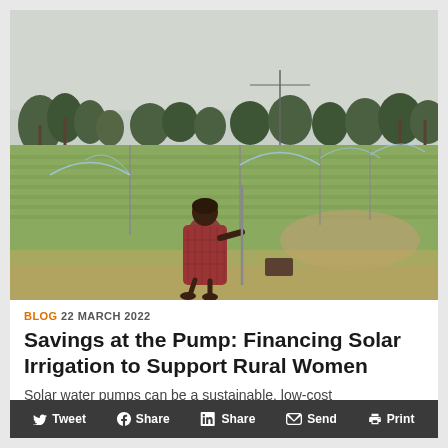[Figure (photo): A woman in a patterned dress stands in a green agricultural field, operating a sprinkler irrigation system. Palm trees are visible in the background under an overcast sky. The field shows rows of green crops with sprinklers spraying water.]
BLOG 22 MARCH 2022
Savings at the Pump: Financing Solar Irrigation to Support Rural Women
Solar water pumps can be a sustainable, low-cost
Tweet  Share  Share  Send  Print